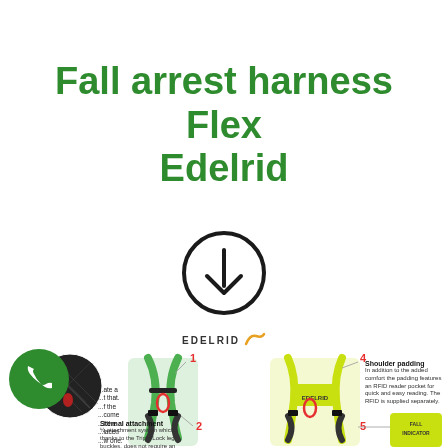Fall arrest harness Flex Edelrid
[Figure (illustration): Circle with downward arrow icon indicating a download or link]
[Figure (illustration): Edelrid brand logo with stylized 'e' mark]
[Figure (infographic): Product infographic showing Edelrid Fall arrest harness Flex with numbered callouts: 1 (chest area), 2 (sternal attachment - Triple Lock leg buckles), 4 (shoulder padding with RFID reader pocket), 5 (Fall Indicator). Also shows close-up of harness fabric texture and a green phone circle icon on the left.]
Shoulder padding
In addition to the added comfort the padding features an RFID reader pocket for quick and easy reading. The RFID is supplied separately.
Sternal attachment
½ attachment system which, thanks to the Triple Lock leg buckles, does not require an additional carabiner for